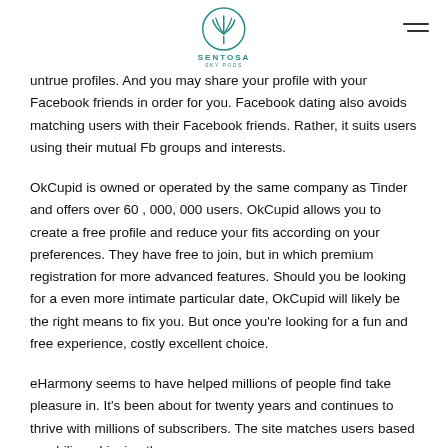[Figure (logo): Sentosa Sky Pods logo with teal circular emblem and text SENTOSA SKY PODS below]
untrue profiles. And you may share your profile with your Facebook friends in order for you. Facebook dating also avoids matching users with their Facebook friends. Rather, it suits users using their mutual Fb groups and interests.
OkCupid is owned or operated by the same company as Tinder and offers over 60 , 000, 000 users. OkCupid allows you to create a free profile and reduce your fits according on your preferences. They have free to join, but in which premium registration for more advanced features. Should you be looking for a even more intimate particular date, OkCupid will likely be the right means to fix you. But once you're looking for a fun and free experience, costly excellent choice.
eHarmony seems to have helped millions of people find take pleasure in. It's been about for twenty years and continues to thrive with millions of subscribers. The site matches users based on abiliyy, skipping the